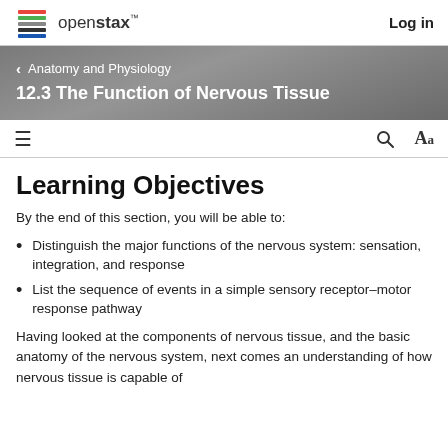openstax™  Log in
Anatomy and Physiology
12.3 The Function of Nervous Tissue
Learning Objectives
By the end of this section, you will be able to:
Distinguish the major functions of the nervous system: sensation, integration, and response
List the sequence of events in a simple sensory receptor–motor response pathway
Having looked at the components of nervous tissue, and the basic anatomy of the nervous system, next comes an understanding of how nervous tissue is capable of